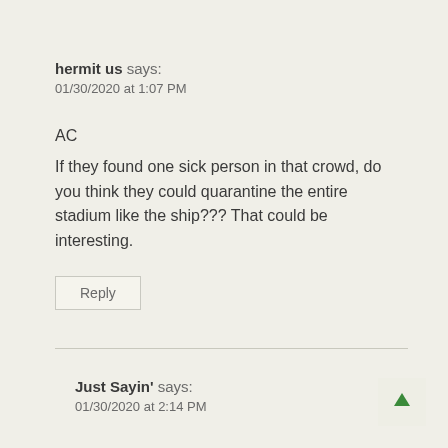hermit us says:
01/30/2020 at 1:07 PM
AC
If they found one sick person in that crowd, do you think they could quarantine the entire stadium like the ship??? That could be interesting.
Reply
Just Sayin' says:
01/30/2020 at 2:14 PM